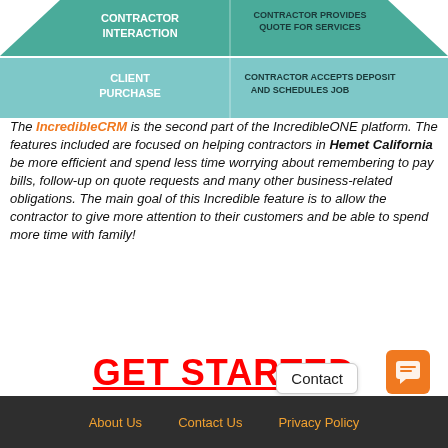[Figure (infographic): Partial funnel/pyramid diagram showing 'CONTRACTOR INTERACTION' with label 'CONTRACTOR PROVIDES QUOTE FOR SERVICES' and 'CLIENT PURCHASE' with label 'CONTRACTOR ACCEPTS DEPOSIT AND SCHEDULES JOB', teal/green colored blocks]
The IncredibleCRM is the second part of the IncredibleONE platform. The features included are focused on helping contractors in Hemet California be more efficient and spend less time worrying about remembering to pay bills, follow-up on quote requests and many other business-related obligations. The main goal of this Incredible feature is to allow the contractor to give more attention to their customers and be able to spend more time with family!
GET STARTED
About Us   Contact Us   Privacy Policy